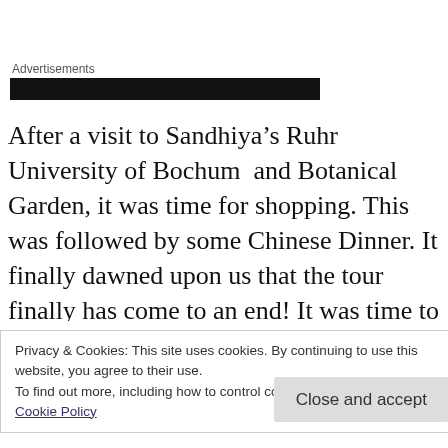Advertisements
[Figure (other): Black advertisement banner bar]
After a visit to Sandhiya’s Ruhr University of Bochum  and Botanical Garden, it was time for shopping. This was followed by some Chinese Dinner. It finally dawned upon us that the tour finally has come to an end! It was time to pack our bags for one final time for a departure early
Privacy & Cookies: This site uses cookies. By continuing to use this website, you agree to their use.
To find out more, including how to control cookies, see here:
Cookie Policy
Close and accept
coercion are fruitless. We find that after years